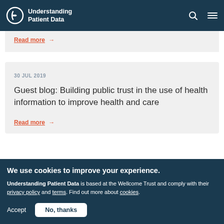Understanding Patient Data
Read more →
30 JUL 2019
Guest blog: Building public trust in the use of health information to improve health and care
Read more →
We use cookies to improve your experience.
Understanding Patient Data is based at the Wellcome Trust and comply with their privacy policy and terms. Find out more about cookies.
Accept   No, thanks